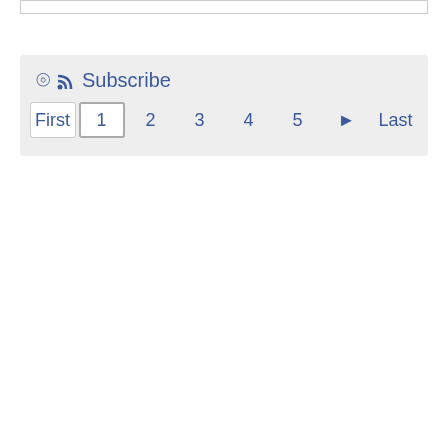[Figure (screenshot): Top white box area with border, partially visible]
Subscribe
First 1 2 3 4 5 ▶ Last